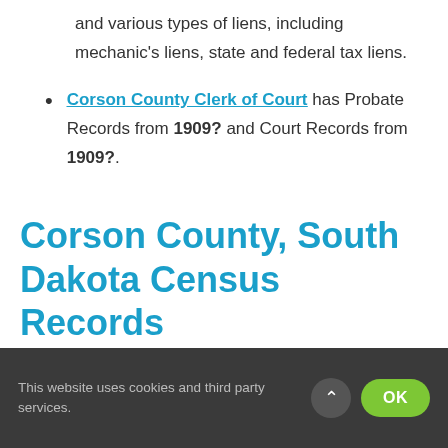and various types of liens, including mechanic's liens, state and federal tax liens.
Corson County Clerk of Court has Probate Records from 1909? and Court Records from 1909?.
Corson County, South Dakota Census Records
This website uses cookies and third party services.